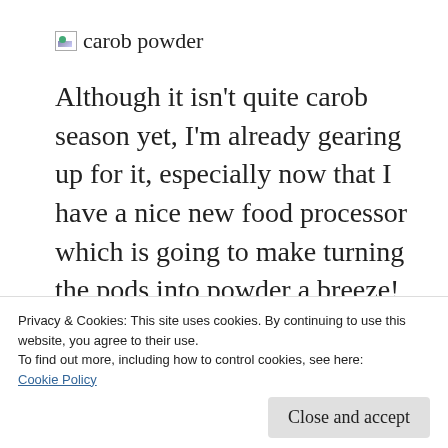[Figure (illustration): Broken image placeholder icon followed by the text 'carob powder']
Although it isn't quite carob season yet, I'm already gearing up for it, especially now that I have a nice new food processor which is going to make turning the pods into powder a breeze! Those dark brown pods are just loaded with nutrients, they are naturally sweet, which means that when using them in baking you can use less added sugar, and best of all, they can
Privacy & Cookies: This site uses cookies. By continuing to use this website, you agree to their use.
To find out more, including how to control cookies, see here:
Cookie Policy
Close and accept